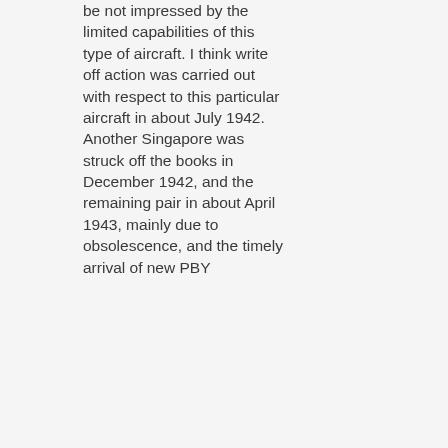be not impressed by the limited capabilities of this type of aircraft. I think write off action was carried out with respect to this particular aircraft in about July 1942. Another Singapore was struck off the books in December 1942, and the remaining pair in about April 1943, mainly due to obsolescence, and the timely arrival of new PBY